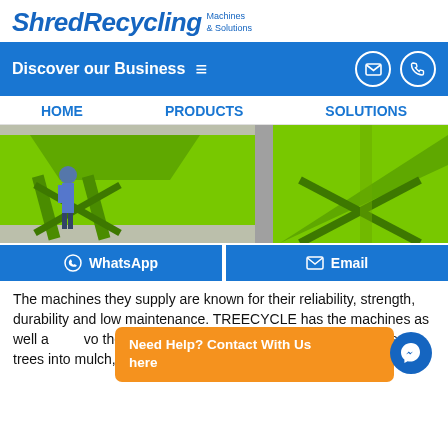ShredRecycling Machines & Solutions
Discover our Business
HOME  PRODUCTS  SOLUTIONS
[Figure (photo): Green industrial shredding/recycling machines in a warehouse with a worker in blue uniform standing nearby]
WhatsApp  Email
The machines they supply are known for their reliability, strength, durability and low maintenance. TREECYCLE has the machines as well as the vo the correct grinder or detail/vegetation into bio-mass, trees into mulch, green waste into chip.
Need Help? Contact With Us here